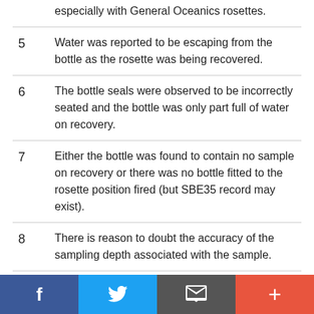especially with General Oceanics rosettes.
5  Water was reported to be escaping from the bottle as the rosette was being recovered.
6  The bottle seals were observed to be incorrectly seated and the bottle was only part full of water on recovery.
7  Either the bottle was found to contain no sample on recovery or there was no bottle fitted to the rosette position fired (but SBE35 record may exist).
8  There is reason to doubt the accuracy of the sampling depth associated with the sample.